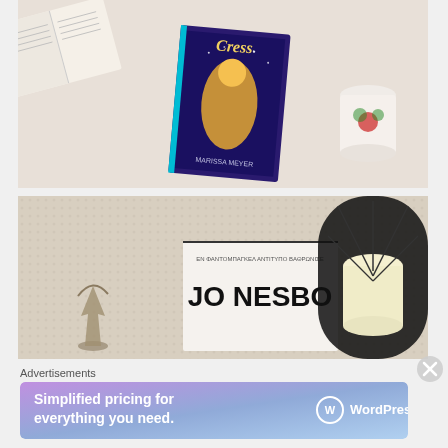[Figure (photo): Top-down photo of a bed with white sheets. An open book is visible at top-left. A copy of 'Cress' by Marissa Meyer is placed in the center, with a decorative mug on the right.]
[Figure (photo): Top-down photo of a textured beige surface with a Jo Nesbo book visible at bottom center, a decorative lamp/candle holder on the right, and a small figurine on the left.]
Advertisements
[Figure (other): WordPress.com advertisement banner with gradient background (purple to blue). Text reads: 'Simplified pricing for everything you need.' with WordPress.com logo on the right.]